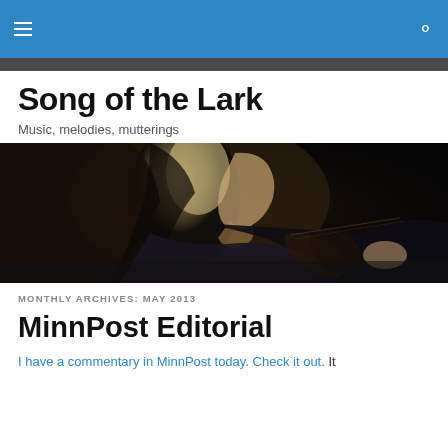Song of the Lark — navigation bar
Song of the Lark
Music, melodies, mutterings
[Figure (photo): A painting of a woman playing violin, viewed in profile from the right side, against a dark background. Classical art style.]
MONTHLY ARCHIVES: MAY 2013
MinnPost Editorial
I have a commentary in MinnPost today. Check it out. It